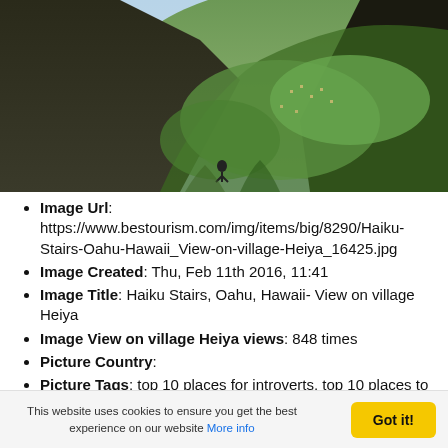[Figure (photo): Aerial/mountain view of Haiku Stairs area, Oahu, Hawaii - view on village Heiya, showing green vegetation, landscape and dark hillside.]
Image Url: https://www.bestourism.com/img/items/big/8290/Haiku-Stairs-Oahu-Hawaii_View-on-village-Heiya_16425.jpg
Image Created: Thu, Feb 11th 2016, 11:41
Image Title: Haiku Stairs, Oahu, Hawaii- View on village Heiya
Image View on village Heiya views: 848 times
Picture Country:
Picture Tags: top 10 places for introverts, top 10 places to visit for introvert people, introvert people,creative places for introvert people, excellent places to travel , places for reflection, places to develop creativity, energizing places to visit,Haiku Trail, Haiku stairs, island of Oahu, Hawaii, extreme hiking trails in Hawaii, about Haiku stairs, visit Hawaii, description of Haiku stairs, best
This website uses cookies to ensure you get the best experience on our website More info
Got it!